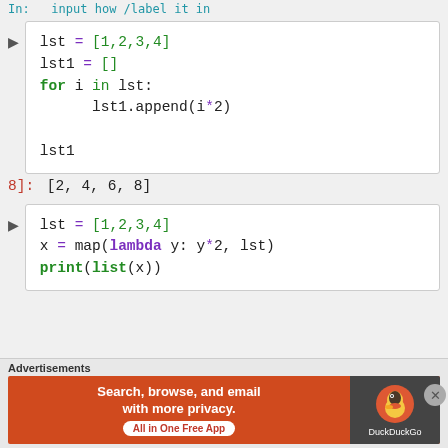In:  input how /label it in
lst = [1,2,3,4]
lst1 = []
for i in lst:
    lst1.append(i*2)

lst1
8]: [2, 4, 6, 8]
lst = [1,2,3,4]
x = map(lambda y: y*2, lst)
print(list(x))
Advertisements
Search, browse, and email with more privacy. All in One Free App | DuckDuckGo